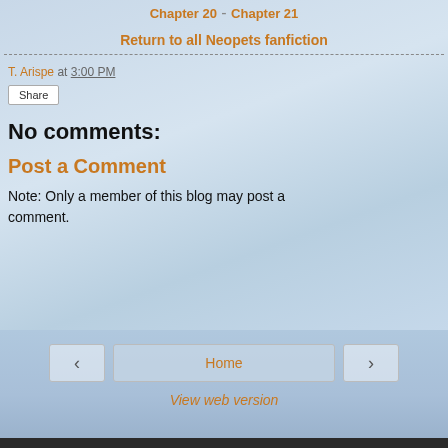17 · Chapter 18 · Chapter 19 · Chapter 20 - Chapter 21
Return to all Neopets fanfiction
T. Arispe at 3:00 PM
Share
No comments:
Post a Comment
Note: Only a member of this blog may post a comment.
Home | View web version | Powered by Blogger.